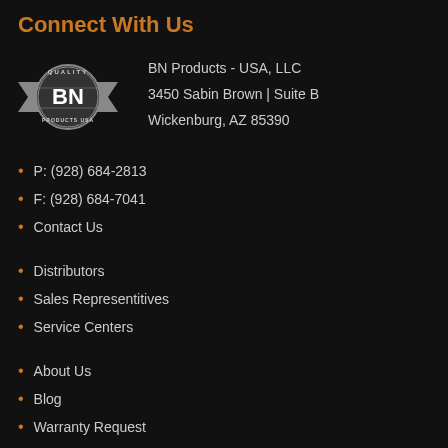Connect With Us
BN Products - USA, LLC
3450 Sabin Brown | Suite B
Wickenburg, AZ 85390
P: (928) 684-2813
F: (928) 684-7041
Contact Us
Distributors
Sales Representitives
Service Centers
About Us
Blog
Warranty Request